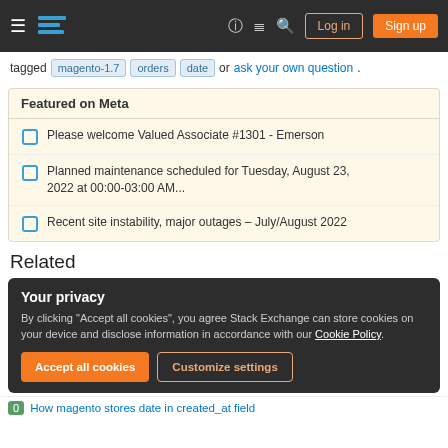Stack Exchange navigation header with Log in and Sign up buttons
tagged magento-1.7 orders date or ask your own question.
Featured on Meta
Please welcome Valued Associate #1301 - Emerson
Planned maintenance scheduled for Tuesday, August 23, 2022 at 00:00-03:00 AM...
Recent site instability, major outages – July/August 2022
Related
Your privacy
By clicking "Accept all cookies", you agree Stack Exchange can store cookies on your device and disclose information in accordance with our Cookie Policy.
Accept all cookies  Customize settings
0  How magento stores date in created_at field